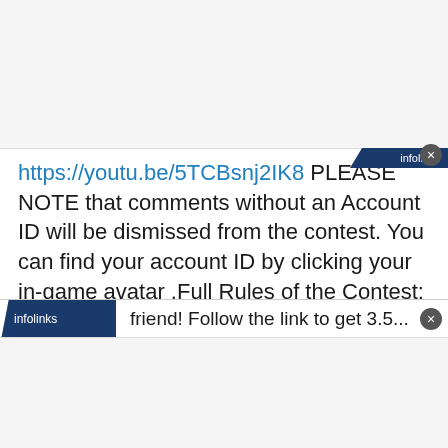https://youtu.be/5TCBsnj2IK8 PLEASE NOTE that comments without an Account ID will be dismissed from the contest. You can find your account ID by clicking your in-game avatar .Full Rules of the Contest: https://bit.ly/LiveStreamENG Good luck and see you soon! * Each winner will receive 3710 Khorus' Soul Stones, sufficient for absolute pet's evolution.
Posted: an hour ago